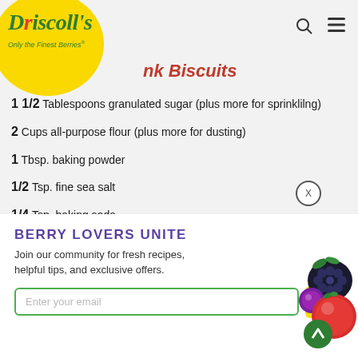[Figure (logo): Driscoll's logo with yellow circle, green italic text and tagline 'Only the Finest Berries']
Lemon Pink Biscuits
1 1/2 Tablespoons granulated sugar (plus more for sprinklilng)
2 Cups all-purpose flour (plus more for dusting)
1 Tbsp. baking powder
1/2 Tsp. fine sea salt
1/4 Tsp. baking soda
6 Tablespoons (3/4 stick) cold unsalted butter, cut into small cubes
3/4 Cup buttermilk
Whipped cream
1 Cup very cold heavy cream
2 Tablespoons...
BERRY LOVERS UNITE
Join our community for fresh recipes, helpful tips, and exclusive offers.
Enter your email